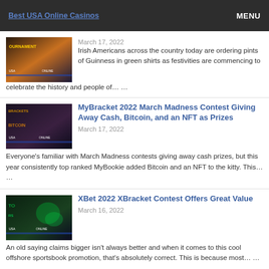Best USA Online Casinos | MENU
March 17, 2022
Irish Americans across the country today are ordering pints of Guinness in green shirts as festivities are commencing to celebrate the history and people of… …
MyBracket 2022 March Madness Contest Giving Away Cash, Bitcoin, and an NFT as Prizes
March 17, 2022
Everyone's familiar with March Madness contests giving away cash prizes, but this year consistently top ranked MyBookie added Bitcoin and an NFT to the kitty. This… …
XBet 2022 XBracket Contest Offers Great Value
March 16, 2022
An old saying claims bigger isn't always better and when it comes to this cool offshore sportsbook promotion, that's absolutely correct. This is because most… …